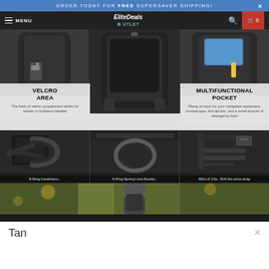ORDER TODAY FOR FREE SUPERSAVER SHIPPING!
MENU | EliteDeals OUTLET | 🔍 | 🛒 0
[Figure (photo): Three tactical backpacks shown from different angles: left shows back panel with holster compartment, center shows open front view of black tactical backpack, right shows open side pocket with tablet]
VELCRO AREA
The back of velcro compartment works for holster or hydration bladder
MULTIFUNCTIONAL POCKET
Plenty of room for your navigation equipment, survival gear, first aid kits, and a small amount of emergency food
[Figure (photo): Three close-up photos of backpack hardware: D-Ring Carabiners, D-Ring Spring Lock Buckle, MOLLE Clip showing how to roll the extra strap]
D-Ring Carabiners :
D-Ring Spring Lock Buckle :
MOLLE Clip : Roll the extra strap
[Figure (photo): Person wearing black tactical backpack outdoors in wooded area, viewed from behind]
Tan